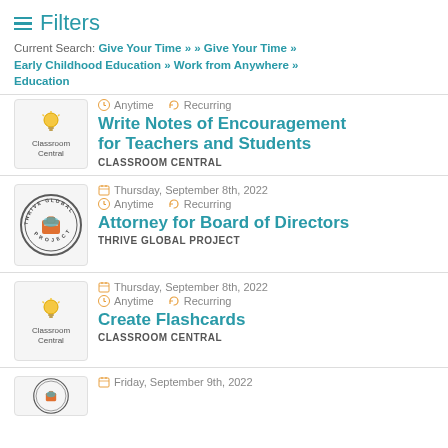Filters
Current Search: Give Your Time » » Give Your Time » Early Childhood Education » Work from Anywhere » Education
[Figure (logo): Classroom Central logo - lightbulb with text]
Anytime   Recurring
Write Notes of Encouragement for Teachers and Students
CLASSROOM CENTRAL
[Figure (logo): Thrive Global Project circular logo]
Thursday, September 8th, 2022
Anytime   Recurring
Attorney for Board of Directors
THRIVE GLOBAL PROJECT
[Figure (logo): Classroom Central logo - lightbulb with text]
Thursday, September 8th, 2022
Anytime   Recurring
Create Flashcards
CLASSROOM CENTRAL
[Figure (logo): Thrive Global Project circular logo partial]
Friday, September 9th, 2022